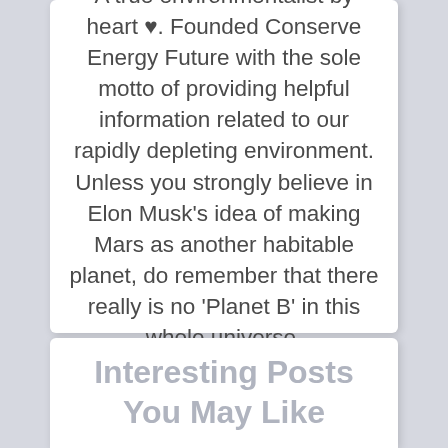A true environmentalist by heart ♥. Founded Conserve Energy Future with the sole motto of providing helpful information related to our rapidly depleting environment. Unless you strongly believe in Elon Musk's idea of making Mars as another habitable planet, do remember that there really is no 'Planet B' in this whole universe.
Interesting Posts You May Like